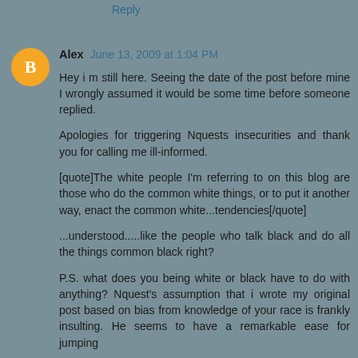Reply
Alex  June 13, 2009 at 1:04 PM
Hey i m still here. Seeing the date of the post before mine I wrongly assumed it would be some time before someone replied.

Apologies for triggering Nquests insecurities and thank you for calling me ill-informed.

[quote]The white people I'm referring to on this blog are those who do the common white things, or to put it another way, enact the common white...tendencies[/quote]

...understood.....like the people who talk black and do all the things common black right?

P.S. what does you being white or black have to do with anything? Nquest's assumption that i wrote my original post based on bias from knowledge of your race is frankly insulting. He seems to have a remarkable ease for jumping